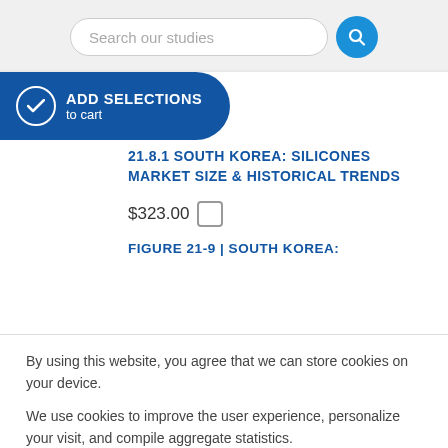Search our studies
ADD SELECTIONS to cart
21.8.1 SOUTH KOREA: SILICONES MARKET SIZE & HISTORICAL TRENDS
$323.00
FIGURE 21-9 | SOUTH KOREA:
By using this website, you agree that we can store cookies on your device.
We use cookies to improve the user experience, personalize your visit, and compile aggregate statistics.
More information can be found in our Privacy Policy.
Accept
Decline